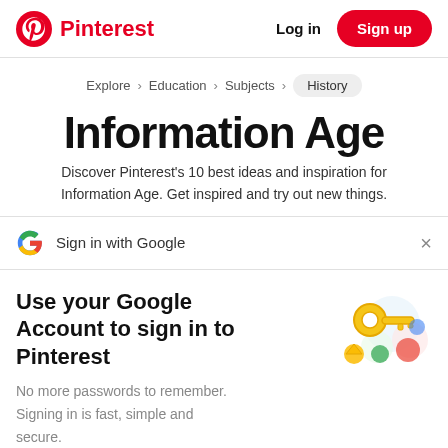Pinterest  Log in  Sign up
Explore > Education > Subjects > History
Information Age
Discover Pinterest's 10 best ideas and inspiration for Information Age. Get inspired and try out new things.
Sign in with Google
Use your Google Account to sign in to Pinterest
No more passwords to remember. Signing in is fast, simple and secure.
Continue